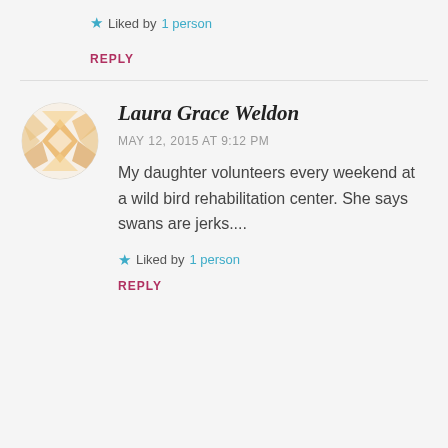★ Liked by 1 person
REPLY
[Figure (illustration): Circular avatar icon with geometric diamond/quilt pattern in orange and white tones]
Laura Grace Weldon
MAY 12, 2015 AT 9:12 PM
My daughter volunteers every weekend at a wild bird rehabilitation center. She says swans are jerks....
★ Liked by 1 person
REPLY